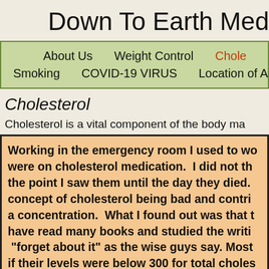Down To Earth Medicine
About Us | Weight Control | Cholesterol | Smoking | COVID-19 VIRUS | Location of Articles
Cholesterol
Cholesterol is a vital component of the body ma...
Working in the emergency room I used to wo... were on cholesterol medication. I did not th... the point I saw them until the day they died. concept of cholesterol being bad and contri... a concentration. What I found out was that ... have read many books and studied the writi... "forget about it" as the wise guys say. Most... if their levels were below 300 for total choles...